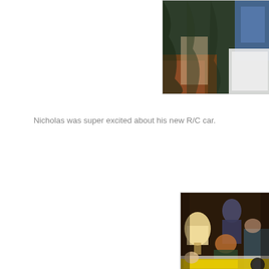[Figure (photo): Partial photo in upper right corner showing a dark green fabric/curtain with boxes and items on a table, clipped at the right edge]
Nicholas was super excited about his new R/C car.
[Figure (photo): Photo of people gathered around a table with a lamp, a woman standing behind seated people, holiday or family gathering scene, partially clipped on the right and bottom edges]